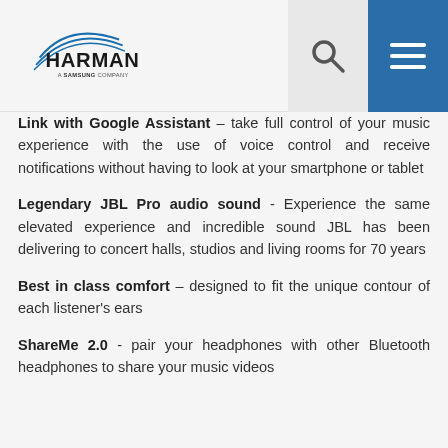HARMAN A Samsung Company
Link with Google Assistant – take full control of your music experience with the use of voice control and receive notifications without having to look at your smartphone or tablet
Legendary JBL Pro audio sound - Experience the same elevated experience and incredible sound JBL has been delivering to concert halls, studios and living rooms for 70 years
Best in class comfort – designed to fit the unique contour of each listener's ears
ShareMe 2.0 - pair your headphones with other Bluetooth headphones to share your music videos